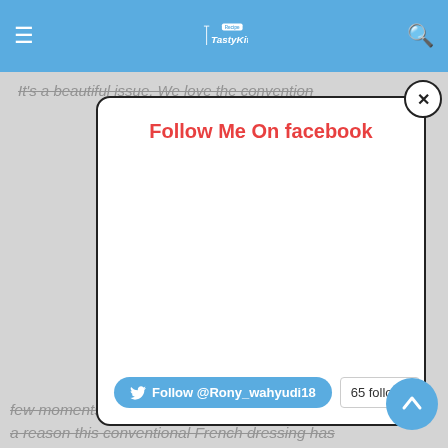TastyKitchen Recipe
It's a beautiful issue. We love the convention
[Figure (screenshot): Modal popup with 'Follow Me On facebook' heading in red, white content area, Twitter follow button for @Rony_wahyudi18, 65 followers count, and close (X) button]
nd
he
few moments are made for oysters. And there's a reason this conventional French dressing has